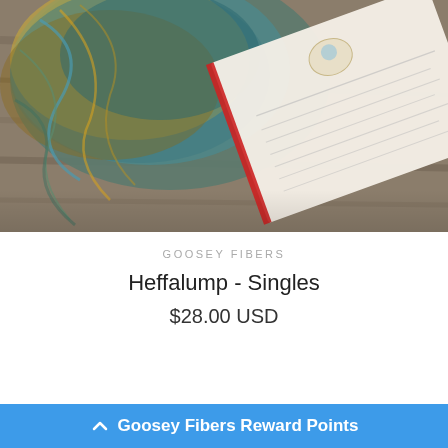[Figure (photo): Product photo showing colorful variegated yarn (teal, gold, brown tones) next to an open illustrated book on a wooden surface]
GOOSEY FIBERS
Heffalump - Singles
$28.00 USD
Goosey Fibers Reward Points